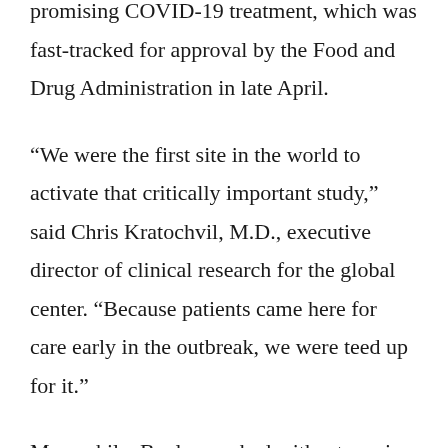promising COVID-19 treatment, which was fast-tracked for approval by the Food and Drug Administration in late April.
“We were the first site in the world to activate that critically important study,” said Chris Kratochvil, M.D., executive director of clinical research for the global center. “Because patients came here for care early in the outbreak, we were teed up for it.”
Meanwhile, Bayles worked with a team in South Dakota to develop virus antibodies, which could be used therapeutically or to